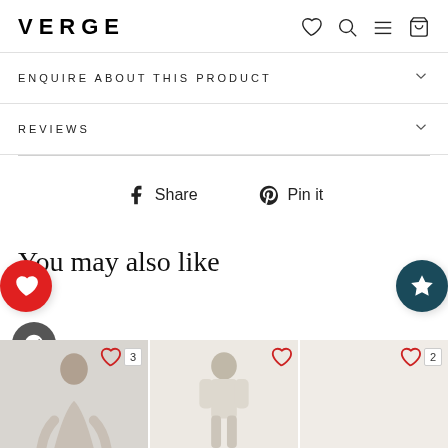VERGE
ENQUIRE ABOUT THIS PRODUCT
REVIEWS
Share  Pin it
You may also like
[Figure (photo): Product thumbnail 1 with heart icon and count badge showing 3]
[Figure (photo): Product thumbnail 2 with heart icon (no count)]
[Figure (photo): Product thumbnail 3 with heart icon and count badge showing 2]